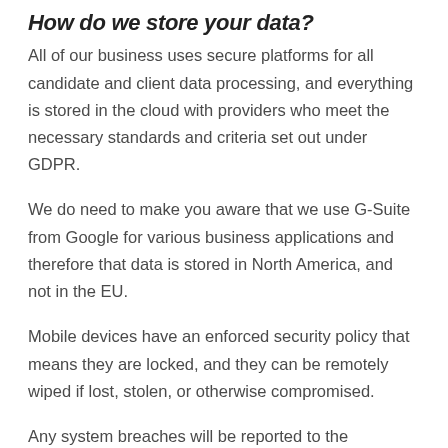How do we store your data?
All of our business uses secure platforms for all candidate and client data processing, and everything is stored in the cloud with providers who meet the necessary standards and criteria set out under GDPR.
We do need to make you aware that we use G-Suite from Google for various business applications and therefore that data is stored in North America, and not in the EU.
Mobile devices have an enforced security policy that means they are locked, and they can be remotely wiped if lost, stolen, or otherwise compromised.
Any system breaches will be reported to the Information